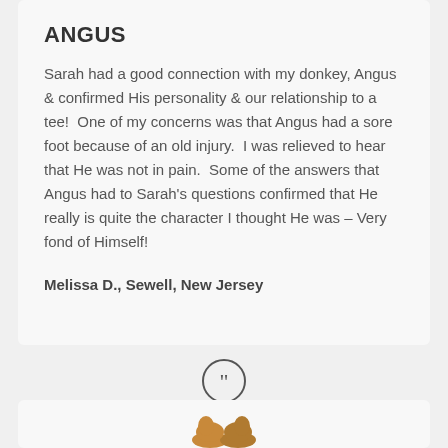ANGUS
Sarah had a good connection with my donkey, Angus & confirmed His personality & our relationship to a tee!  One of my concerns was that Angus had a sore foot because of an old injury.  I was relieved to hear that He was not in pain.  Some of the answers that Angus had to Sarah's questions confirmed that He really is quite the character I thought He was – Very fond of Himself!
Melissa D., Sewell, New Jersey
[Figure (illustration): Closing quotation mark icon in a circle, followed by a partial animal illustration at the bottom of the page]